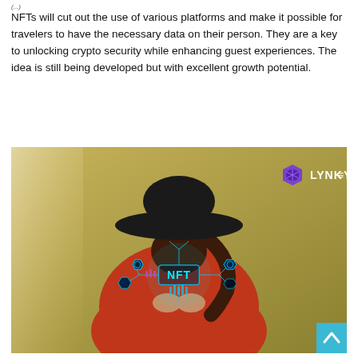(continued)
NFTs will cut out the use of various platforms and make it possible for travelers to have the necessary data on their person. They are a key to unlocking crypto security while enhancing guest experiences. The idea is still being developed but with excellent growth potential.
[Figure (photo): Woman in a wide-brimmed black hat wearing a red floral dress, holding a holographic NFT interface glowing in front of her. The image has a golden/olive background and includes the LYNKEY logo (purple diamond hexagon icon and white LYNKEY text) in the upper right corner. A blue scroll-to-top button appears in the bottom right corner.]